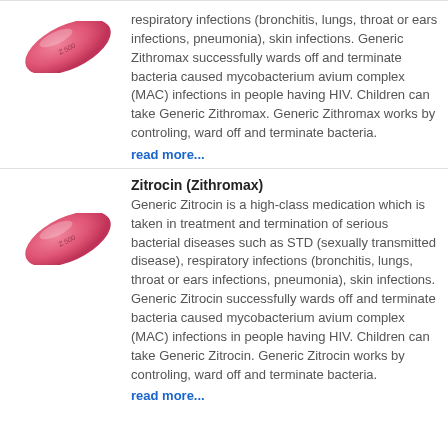[Figure (illustration): Pink oval pill tablet with imprint 'Z 500' shown at an angle]
respiratory infections (bronchitis, lungs, throat or ears infections, pneumonia), skin infections. Generic Zithromax successfully wards off and terminate bacteria caused mycobacterium avium complex (MAC) infections in people having HIV. Children can take Generic Zithromax. Generic Zithromax works by controling, ward off and terminate bacteria.
read more...
Zitrocin (Zithromax)
Generic Zitrocin is a high-class medication which is taken in treatment and termination of serious bacterial diseases such as STD (sexually transmitted disease), respiratory infections (bronchitis, lungs, throat or ears infections, pneumonia), skin infections. Generic Zitrocin successfully wards off and terminate bacteria caused mycobacterium avium complex (MAC) infections in people having HIV. Children can take Generic Zitrocin. Generic Zitrocin works by controling, ward off and terminate bacteria.
read more...
[Figure (illustration): Pink oval pill tablet with imprint 'Z 500' shown at an angle]